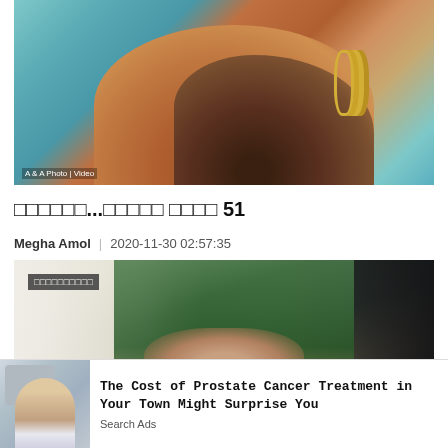[Figure (photo): Close-up photo of two hands holding — one with henna mehndi design and gold bangles (bride), another plain hand (groom). Watermark: A&A Photo | Video]
□□□□□□...□□□□□ □□□□ 51
Megha Amol | 2020-11-30 02:57:35
[Figure (photo): Photo of a couple holding hands outdoors against a green bokeh background. Bride in white dress on left, groom in dark suit on right. Small label overlay in non-Latin script (likely Marathi/Hindi).]
[Figure (photo): Advertisement image: person lying on a medical treatment table under a radiation/medical machine]
The Cost of Prostate Cancer Treatment in Your Town Might Surprise You
Search Ads